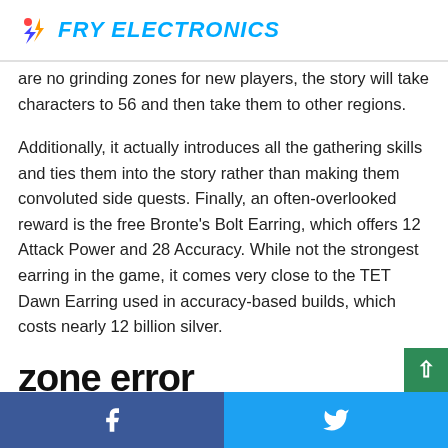FRY ELECTRONICS
are no grinding zones for new players, the story will take characters to 56 and then take them to other regions.
Additionally, it actually introduces all the gathering skills and ties them into the story rather than making them convoluted side quests. Finally, an often-overlooked reward is the free Bronte's Bolt Earring, which offers 12 Attack Power and 28 Accuracy. While not the strongest earring in the game, it comes very close to the TET Dawn Earring used in accuracy-based builds, which costs nearly 12 billion silver.
zone error
While the story might be a step in the right direction, the en